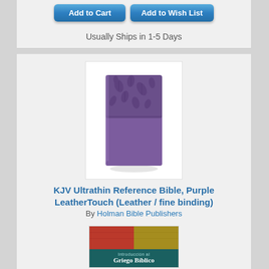[Figure (other): Top blue Add to Cart and Add to Wish List buttons (partially visible)]
Usually Ships in 1-5 Days
[Figure (photo): Purple LeatherTouch Bible book cover with floral texture pattern on top half]
KJV Ultrathin Reference Bible, Purple LeatherTouch (Leather / fine binding)
By Holman Bible Publishers
$19.99
[Figure (other): Add to Cart button (blue rounded)]
[Figure (other): Add to Wish List button (blue rounded)]
Usually Ships in 1-5 Days
[Figure (photo): Griego Biblico book cover with colorful mosaic top and dark teal bottom with white text 'Introduccion al Griego Biblico']